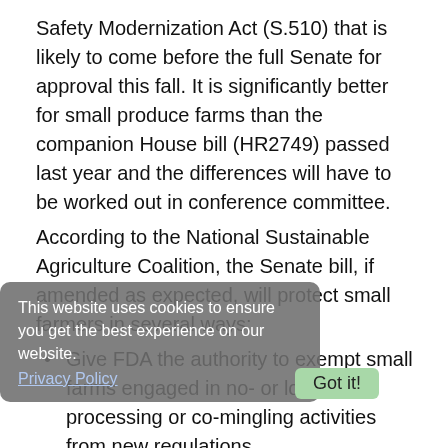Safety Modernization Act (S.510) that is likely to come before the full Senate for approval this fall. It is significantly better for small produce farms than the companion House bill (HR2749) passed last year and the differences will have to be worked out in conference committee.
According to the National Sustainable Agriculture Coalition, the Senate bill, if amended as expected, will protect small farmers in several ways:
Give FDA the authority to exempt small farms engaged in no- or low-risk processing or co-mingling activities from new regulations.
Provide for a USDA grants program for food safety training for farmers, small processors, and wholesalers.
Require FDA to apply sound science to any requirements that might impact wildlife on farms; the amendment is in response to fears that